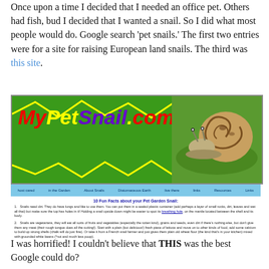Once upon a time I decided that I needed an office pet. Others had fish, bud I decided that I wanted a snail. So I did what most people would do. Google search 'pet snails.' The first two entries were for a site for raising European land snails. The third was this site.
[Figure (screenshot): Screenshot of MyPetSnail.com website showing a green banner with colorful logo text 'MyPetSnail.com' and a photo of a snail, navigation bar below, and page content showing '10 Fun Facts about your Pet Garden Snail']
I was horrified! I couldn't believe that THIS was the best Google could do?